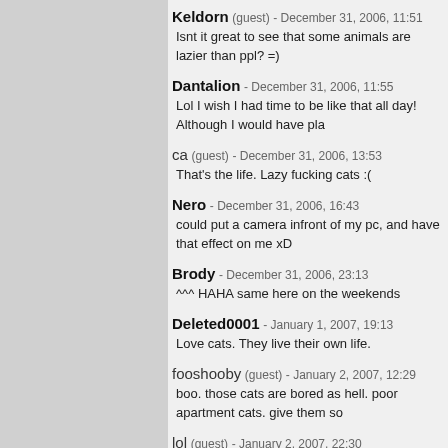Keldorn (guest) - December 31, 2006, 11:51
Isnt it great to see that some animals are lazier than ppl? =)
Dantalion - December 31, 2006, 11:55
Lol I wish I had time to be like that all day! Although I would have pla
ca (guest) - December 31, 2006, 13:53
That's the life. Lazy fucking cats :(
Nero - December 31, 2006, 16:43
could put a camera infront of my pc, and have that effect on me xD
Brody - December 31, 2006, 23:13
^^^ HAHA same here on the weekends
Deleted0001 - January 1, 2007, 19:13
Love cats. They live their own life.
fooshooby (guest) - January 2, 2007, 12:29
boo. those cats are bored as hell. poor apartment cats. give them so
lol (guest) - January 2, 2007, 22:30
Frickin genius xD, I wish I had a webcam to do that to my cat too.
popsie (guest) - January 6, 2007, 02:57
well it's official. house cats do absolutely nothing! I'm only jealous!
dafdkjaskldfjlskatlh (guest) - January 10, 2007, 22:23
This person did a great job. with taking ten hours making it to 36 sec
chains - January 11, 2007, 22:24
haha, cats are so lazy